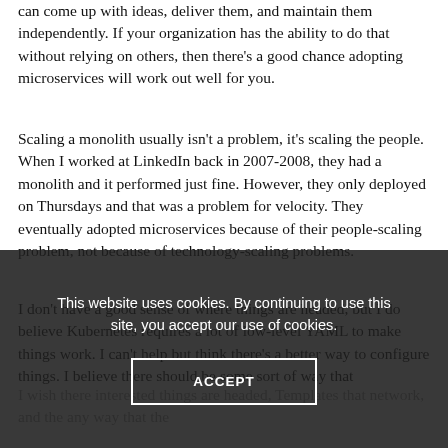can come up with ideas, deliver them, and maintain them independently. If your organization has the ability to do that without relying on others, then there's a good chance adopting microservices will work out well for you.
Scaling a monolith usually isn't a problem, it's scaling the people. When I worked at LinkedIn back in 2007-2008, they had a monolith and it performed just fine. However, they only deployed on Thursdays and that was a problem for velocity. They eventually adopted microservices because of their people-scaling problem, not because of technology-scaling problems.
I don't have a good sense of where things are headed, but I do believe Kubernetes requires a lot of low-level YAML to make things work. I can't help but think there's a better way to configure things. I believe there should be some sort of way that...
I wish there was a [partially obscured text behind cookie banner]
This website uses cookies. By continuing to use this site, you accept our use of cookies.
ACCEPT